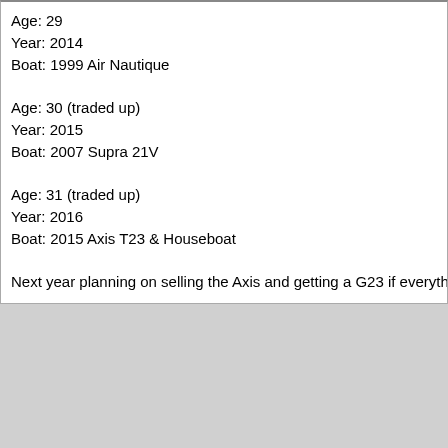Age: 29
Year: 2014
Boat: 1999 Air Nautique

Age: 30 (traded up)
Year: 2015
Boat: 2007 Supra 21V

Age: 31 (traded up)
Year: 2016
Boat: 2015 Axis T23 & Houseboat

Next year planning on selling the Axis and getting a G23 if everythin
(tripsw)   Join Date: May 2006   08-22-2017, 3:58 PM
Back in '88 when I was 15 I bought my first boat. 20Hp 9ft Spitfire 2-
(svnfightsvn)   Join Date: Mar 2011   08-22-2017, 4:01 PM
Age 21. Boat was a 1990 Malibu mystere that I picked up for 9k. Ha sold for 9k. I still remember the first time I took it out. Impeller shred